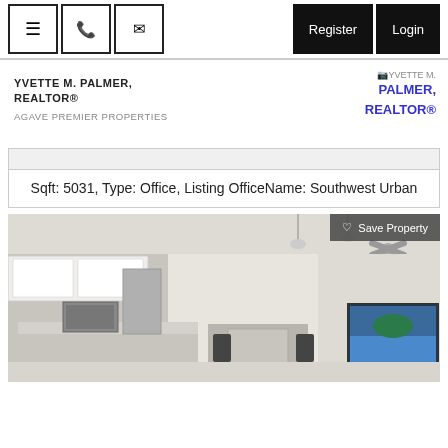Navigation bar with menu, phone, mail icons and Register/Login buttons
YVETTE M. PALMER, REALTOR®
AGAVE PREMIER PROPERTIES
[Figure (other): Logo/image placeholder with alt text: YVETTE M. PALMER, REALTOR®]
Sqft: 5031, Type: Office, Listing OfficeName: Southwest Urban
[Figure (photo): Interior photo of a modern open-plan apartment showing kitchen with white cabinets, stainless steel appliances, ceiling fan, dining area, and wall-mounted TV. Save Property button overlay in top right.]